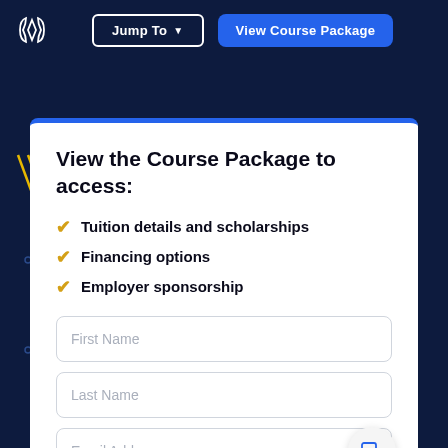[Figure (screenshot): Navigation bar with logo, Jump To dropdown button, and View Course Package button on dark navy background]
View the Course Package to access:
Tuition details and scholarships
Financing options
Employer sponsorship
First Name
Last Name
Email Address
(201) 555-0123 (Optional)